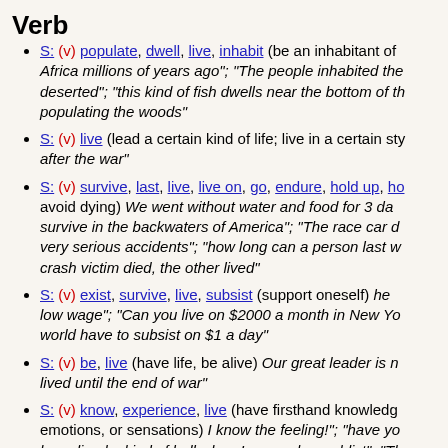Verb
S: (v) populate, dwell, live, inhabit (be an inhabitant of Africa millions of years ago"; "The people inhabited the deserted"; "this kind of fish dwells near the bottom of the populating the woods"
S: (v) live (lead a certain kind of life; live in a certain style) after the war"
S: (v) survive, last, live, live on, go, endure, hold up, ho... (avoid dying) "We went without water and food for 3 days survive in the backwaters of America"; "The race car d very serious accidents"; "how long can a person last w... crash victim died, the other lived"
S: (v) exist, survive, live, subsist (support oneself) "he low wage"; "Can you live on $2000 a month in New Yo... world have to subsist on $1 a day"
S: (v) be, live (have life, be alive) "Our great leader is n... lived until the end of war"
S: (v) know, experience, live (have firsthand knowledge emotions, or sensations) "I know the feeling!"; "have yo... have lived a kind of hell when I was a drug addict"; "Th... lived a nightmare"; "I lived through two divorces"
S: (v) live (pursue a positive and satisfying existence) others if you really want to live"